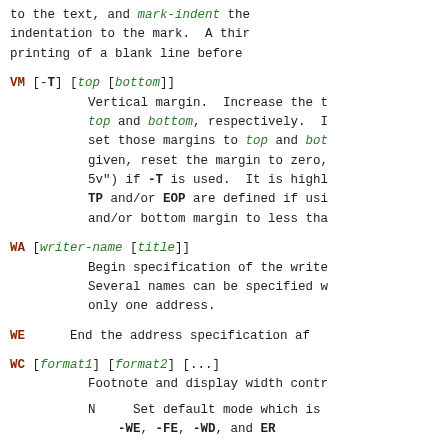to the text, and mark-indent the indentation to the mark.  A third printing of a blank line before
VM [-T] [top [bottom]]
    Vertical margin.  Increase the t top and bottom, respectively.  I set those margins to top and bot given, reset the margin to zero, 5v") if -T is used.  It is highl TP and/or EOP are defined if usi and/or bottom margin to less tha
WA [writer-name [title]]
    Begin specification of the write. Several names can be specified w only one address.
WE      End the address specification af
WC [format1] [format2] [...]
    Footnote and display width contr
    N     Set default mode which is
          -WE, -FE, -WD, and ER